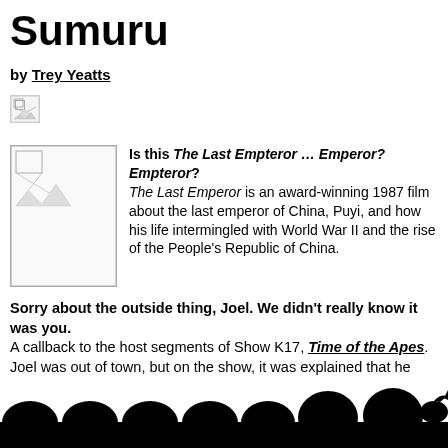Sumuru
by Trey Yeatts
[Figure (illustration): Broken/missing image placeholder (small icon, top area)]
[Figure (illustration): Film still placeholder image (broken image icon) next to text about The Last Emperor]
Is this The Last Empteror … Emperor? Empteror? The Last Emperor is an award-winning 1987 film about the last emperor of China, Puyi, and how his life intermingled with World War II and the rise of the People's Republic of China.
Sorry about the outside thing, Joel. We didn't really know it was you. A callback to the host segments of Show K17, Time of the Apes. Joel was out of town, but on the show, it was explained that he had gone on a spacewalk and the 'bots didn't let him back in.
[Figure (illustration): Silhouette of audience members (MST3K-style) in black at the bottom of the page, including a robot silhouette on the right]